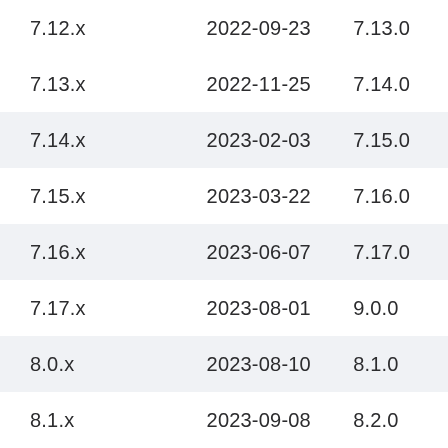| 7.12.x | 2022-09-23 | 7.13.0 |
| 7.13.x | 2022-11-25 | 7.14.0 |
| 7.14.x | 2023-02-03 | 7.15.0 |
| 7.15.x | 2023-03-22 | 7.16.0 |
| 7.16.x | 2023-06-07 | 7.17.0 |
| 7.17.x | 2023-08-01 | 9.0.0 |
| 8.0.x | 2023-08-10 | 8.1.0 |
| 8.1.x | 2023-09-08 | 8.2.0 |